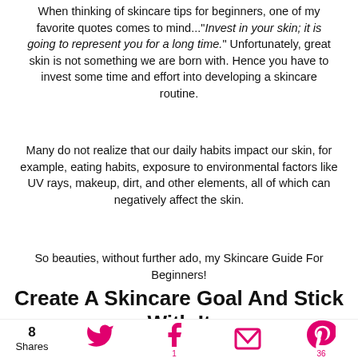When thinking of skincare tips for beginners, one of my favorite quotes comes to mind..."Invest in your skin; it is going to represent you for a long time." Unfortunately, great skin is not something we are born with. Hence you have to invest some time and effort into developing a skincare routine.
Many do not realize that our daily habits impact our skin, for example, eating habits, exposure to environmental factors like UV rays, makeup, dirt, and other elements, all of which can negatively affect the skin.
So beauties, without further ado, my Skincare Guide For Beginners!
Create A Skincare Goal And Stick With It
8 Shares | Twitter | Facebook 1 | Email | Pinterest 36